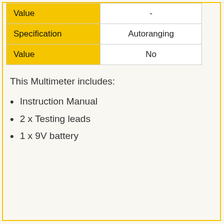| Value | - |
| Specification | Autoranging |
| Value | No |
This Multimeter includes:
Instruction Manual
2 x Testing leads
1 x 9V battery